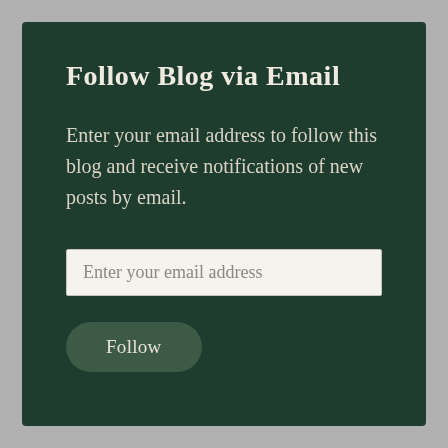Follow Blog via Email
Enter your email address to follow this blog and receive notifications of new posts by email.
Enter your email address
Follow